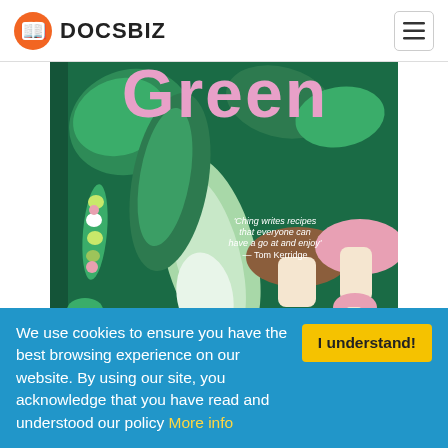DOCSBIZ
[Figure (illustration): Book cover titled 'Green' by Ching-He Huang showing vegetable and mushroom illustrations on a dark green background with pink title text. A quote reads 'Ching writes recipes that everyone can have a go at and enjoy' — Tom Kerridge. Author name Ching-He Huang appears at the bottom.]
We use cookies to ensure you have the best browsing experience on our website. By using our site, you acknowledge that you have read and understood our policy More info